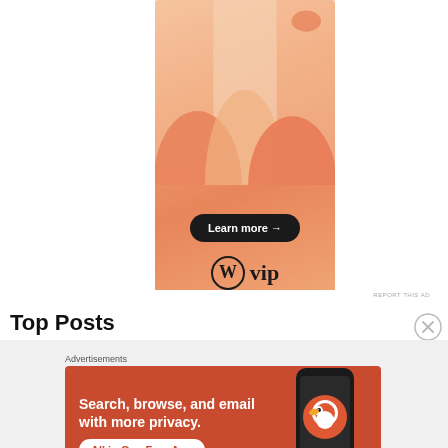[Figure (illustration): WordPress VIP advertisement banner with orange/peach gradient background, decorative blob shapes, a 'Learn more →' button in dark pill shape, and WordPress W logo with 'vip' text]
REPORT THIS AD
Top Posts
Advertisements
[Figure (illustration): DuckDuckGo advertisement on orange-red background. Left side shows bold white text: 'Search, browse, and email with more privacy.' with 'All in One Free App' CTA button. Right side shows a smartphone with DuckDuckGo logo and branding.]
REPORT THIS AD